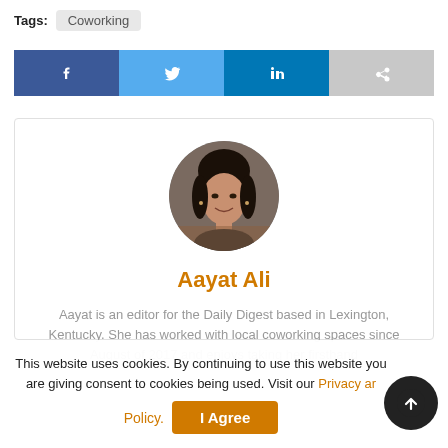Tags: Coworking
[Figure (infographic): Social share buttons: Facebook (blue), Twitter (light blue), LinkedIn (dark blue/teal), Share (gray)]
[Figure (photo): Circular portrait photo of Aayat Ali, a young woman with dark hair, smiling]
Aayat Ali
Aayat is an editor for the Daily Digest based in Lexington, Kentucky. She has worked with local coworking spaces since August of 2017 and enjoys taking her firsthand
This website uses cookies. By continuing to use this website you are giving consent to cookies being used. Visit our Privacy and Cookie Policy.
I Agree